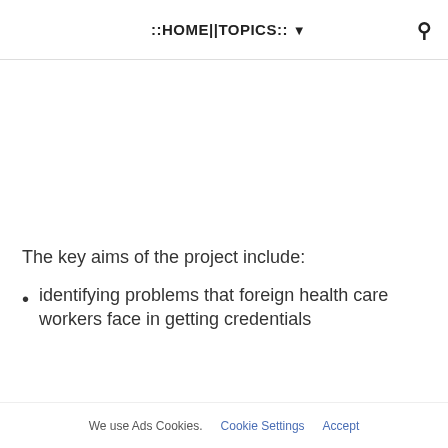::HOME||TOPICS:: ▾
The key aims of the project include:
identifying problems that foreign health care workers face in getting credentials
We use Ads Cookies.  Cookie Settings  Accept